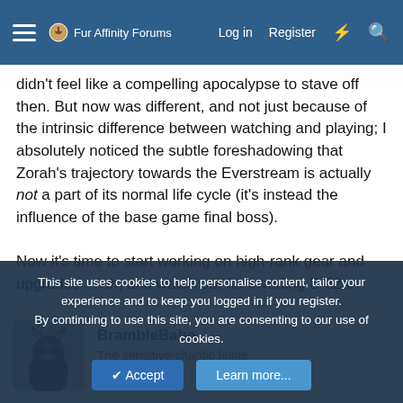Fur Affinity Forums | Log in | Register
didn't feel like a compelling apocalypse to stave off then. But now was different, and not just because of the intrinsic difference between watching and playing; I absolutely noticed the subtle foreshadowing that Zorah's trajectory towards the Everstream is actually not a part of its normal life cycle (it's instead the influence of the base game final boss).
Now it's time to start working on high-rank gear and upgrades ... oh, and watch out for invading B-52s.
BrambleBabe
The sensitive/chaotic feline.
Jun 27, 2020  #1,009
This site uses cookies to help personalise content, tailor your experience and to keep you logged in if you register.
By continuing to use this site, you are consenting to our use of cookies.